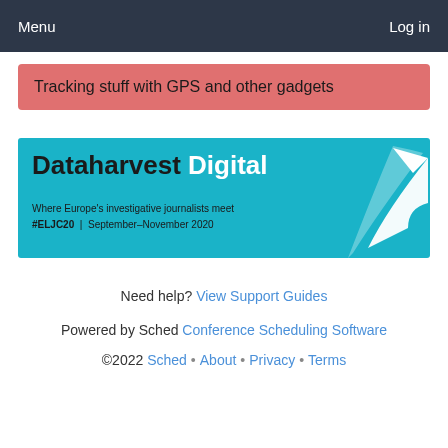Menu    Log in
Tracking stuff with GPS and other gadgets
[Figure (illustration): Dataharvest Digital banner - teal background with bold text 'Dataharvest Digital', subtitle 'Where Europe's investigative journalists meet #ELJC20 | September–November 2020', and a white arrow graphic on the right]
Need help? View Support Guides
Powered by Sched Conference Scheduling Software
©2022 Sched • About • Privacy • Terms